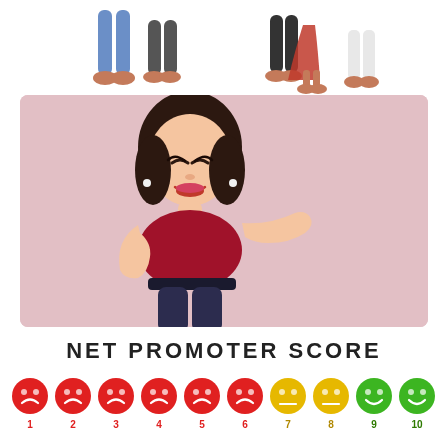[Figure (illustration): Top strip showing cartoon people from waist down: two figures on the left (one in blue jeans, one in grey), and two pairs of figures on the right]
[Figure (illustration): Pink/mauve background rectangle with a cartoon woman in a red top and dark jeans, smiling with eyes closed, gesturing with one hand raised]
NET PROMOTER SCORE
[Figure (infographic): Row of 10 emoji faces numbered 1-10: faces 1-6 are red frowning faces, faces 7-8 are yellow neutral faces, faces 9-10 are green smiling faces]